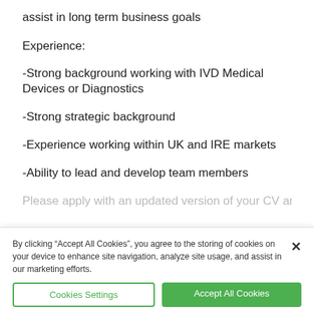assist in long term business goals
Experience:
-Strong background working with IVD Medical Devices or Diagnostics
-Strong strategic background
-Experience working within UK and IRE markets
-Ability to lead and develop team members
Please apply with an updated version of your CV and I will be
By clicking “Accept All Cookies”, you agree to the storing of cookies on your device to enhance site navigation, analyze site usage, and assist in our marketing efforts.
Cookies Settings | Accept All Cookies